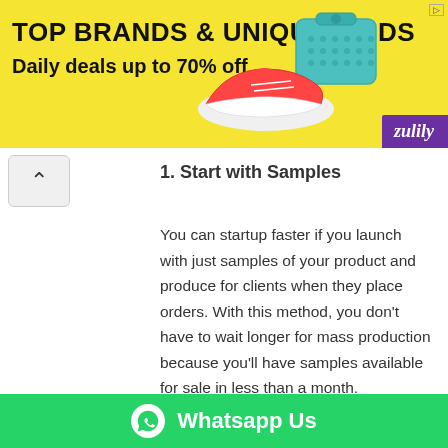[Figure (infographic): Zulily advertisement banner with yellow background showing 'TOP BRANDS & UNIQUE FINDS' and 'Daily deals up to 70% off' with product images (shoes, bag) and purple Zulily logo]
1. Start with Samples
You can startup faster if you launch with just samples of your product and produce for clients when they place orders. With this method, you don't have to wait longer for mass production because you'll have samples available for sale in less than a month.
Another pro is that you also won't be spending alot because you do not need to stock a lot of products. Many fashion business owners have used this method successfully, and you ca— with limited funds. (If y— your own clothing factory, I have a Step-
[Figure (infographic): Green WhatsApp Us button with WhatsApp icon on the right side of the screen]